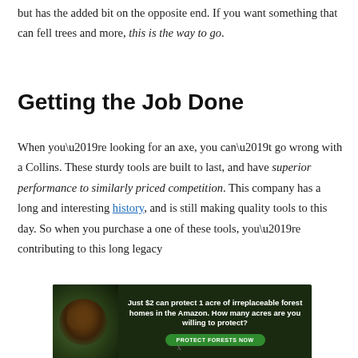but has the added bit on the opposite end. If you want something that can fell trees and more, this is the way to go.
Getting the Job Done
When you’re looking for an axe, you can’t go wrong with a Collins. These sturdy tools are built to last, and have superior performance to similarly priced competition. This company has a long and interesting history, and is still making quality tools to this day. So when you purchase a one of these tools, you’re contributing to this long legacy
[Figure (other): Advertisement banner with forest/Amazon imagery. Text reads: Just $2 can protect 1 acre of irreplaceable forest homes in the Amazon. How many acres are you willing to protect? Button: PROTECT FORESTS NOW]
x